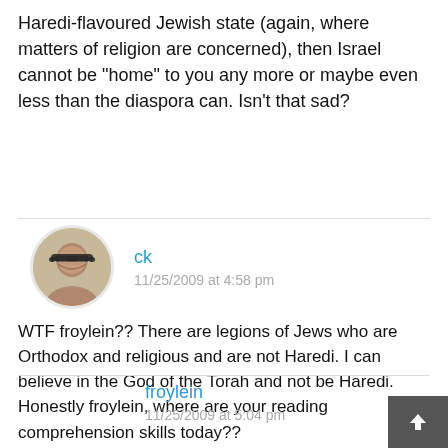Haredi-flavoured Jewish state (again, where matters of religion are concerned), then Israel cannot be “home” to you any more or maybe even less than the diaspora can. Isn’t that sad?
ck
11/25/2009 at 4:58 pm
WTF froylein?? There are legions of Jews who are Orthodox and religious and are not Haredi. I can believe in the God of the Torah and not be Haredi. Honestly froylein, where are your reading comprehension skills today??
froylein
11/25/2009 at 5:04 pm